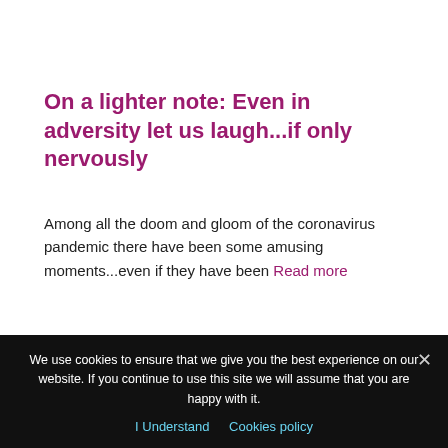On a lighter note: Even in adversity let us laugh...if only nervously
Among all the doom and gloom of the coronavirus pandemic there have been some amusing moments...even if they have been Read more
[Figure (photo): Two-panel image: left panel shows teal-colored coronavirus particles under microscope; right panel shows space/planet scene with dark background and rocky terrain.]
We use cookies to ensure that we give you the best experience on our website. If you continue to use this site we will assume that you are happy with it.
I Understand   Cookies policy